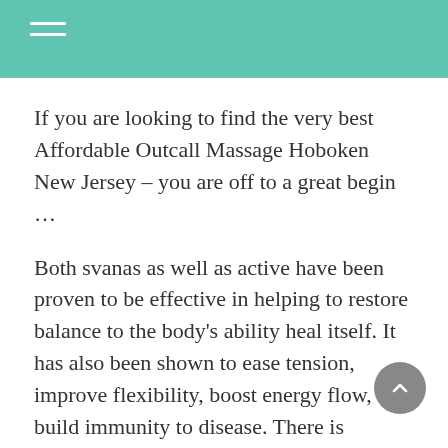If you are looking to find the very best Affordable Outcall Massage Hoboken New Jersey – you are off to a great begin …
Both svanas as well as active have been proven to be effective in helping to restore balance to the body's ability heal itself. It has also been shown to ease tension, improve flexibility, boost energy flow, and build immunity to disease. There is evidence to suggest that regular Thai massage is beneficial to maintaining good health. {It improves circulation and strengthens joints